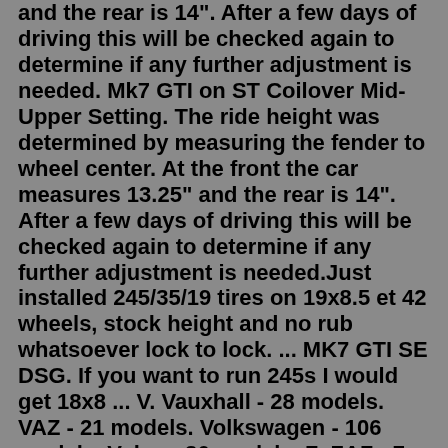and the rear is 14". After a few days of driving this will be checked again to determine if any further adjustment is needed. Mk7 GTI on ST Coilover Mid-Upper Setting. The ride height was determined by measuring the fender to wheel center. At the front the car measures 13.25" and the rear is 14". After a few days of driving this will be checked again to determine if any further adjustment is needed.Just installed 245/35/19 tires on 19x8.5 et 42 wheels, stock height and no rub whatsoever lock to lock. ... MK7 GTI SE DSG. If you want to run 245s I would get 18x8 ... V. Vauxhall - 28 models. VAZ - 21 models. Volkswagen - 106 models. Volvo - 36 models. Z. ZAZ - 7 models. Reference book of tire factory-size. Find your tires by vehicle. The 19 inch tyresize OEM VW Golf VII is 235/35R19 91Y XL, for facelift as well. Reply Netherlands Mk7 (5G) [2013 .. 2017] Aleksey Kolesov September 12, 2020 16:12 Thank you, it has been added. Reply Official comment from our team and volunteers Need help? Try our Wheel CalculatorSep 05, 2016 · So I'm looking to buy a new